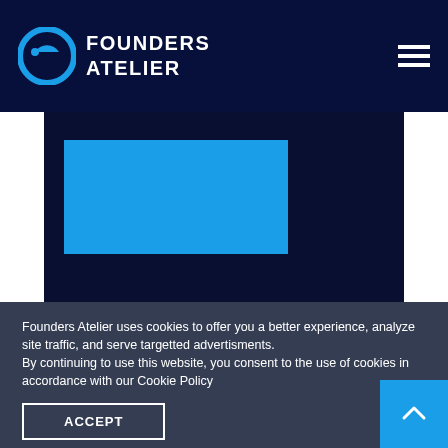FOUNDERS ATELIER
[Figure (screenshot): Dark navy blue panel with a bright blue rectangle in the upper left area, representing a placeholder image or UI element on the Founders Atelier website.]
Founders Atelier uses cookies to offer you a better experience, analyze site traffic, and serve targetted advertisments.
By continuing to use this website, you consent to the use of cookies in accordance with our Cookie Policy
ACCEPT
Contact Us Today:
partners@foundersatelier.co